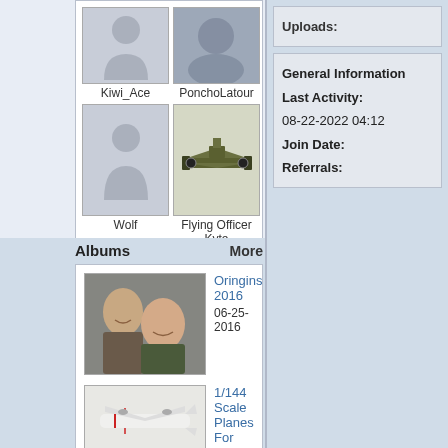[Figure (photo): Profile avatar thumbnail for Kiwi_Ace - silhouette placeholder]
Kiwi_Ace
[Figure (photo): Profile avatar thumbnail for PonchoLatour - blurred face photo]
PonchoLatour
[Figure (photo): Profile avatar thumbnail for Wolf - silhouette placeholder]
Wolf
[Figure (photo): Profile avatar thumbnail for Flying Officer Kyte - military plane image]
Flying Officer Kyte
Albums
More
[Figure (photo): Album thumbnail showing two men smiling, selfie style photo]
Oringins 2016
06-25-2016
[Figure (photo): Album thumbnail showing a small scale model plane (1/144 scale)]
1/144 Scale Planes For Sale
12-27-2015
Uploads:
General Information
Last Activity:
08-22-2022 04:12
Join Date:
Referrals: